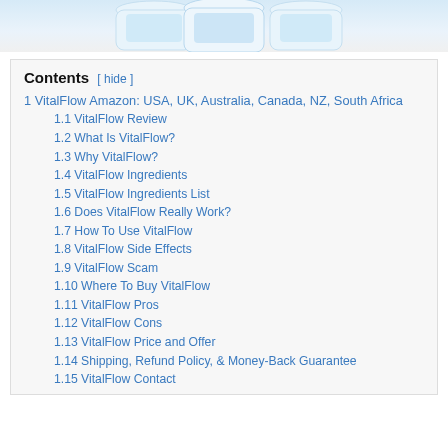[Figure (photo): Product bottles of VitalFlow supplement partially visible at top of page against light blue/white background]
Contents
1 VitalFlow Amazon: USA, UK, Australia, Canada, NZ, South Africa
1.1 VitalFlow Review
1.2 What Is VitalFlow?
1.3 Why VitalFlow?
1.4 VitalFlow Ingredients
1.5 VitalFlow Ingredients List
1.6 Does VitalFlow Really Work?
1.7 How To Use VitalFlow
1.8 VitalFlow Side Effects
1.9 VitalFlow Scam
1.10 Where To Buy VitalFlow
1.11 VitalFlow Pros
1.12 VitalFlow Cons
1.13 VitalFlow Price and Offer
1.14 Shipping, Refund Policy, & Money-Back Guarantee
1.15 VitalFlow Contact